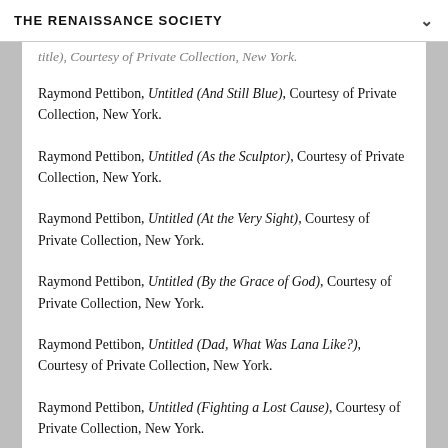THE RENAISSANCE SOCIETY
...title, Courtesy of Private Collection, New York.
Raymond Pettibon, Untitled (And Still Blue), Courtesy of Private Collection, New York.
Raymond Pettibon, Untitled (As the Sculptor), Courtesy of Private Collection, New York.
Raymond Pettibon, Untitled (At the Very Sight), Courtesy of Private Collection, New York.
Raymond Pettibon, Untitled (By the Grace of God), Courtesy of Private Collection, New York.
Raymond Pettibon, Untitled (Dad, What Was Lana Like?), Courtesy of Private Collection, New York.
Raymond Pettibon, Untitled (Fighting a Lost Cause), Courtesy of Private Collection, New York.
Raymond Pettibon, Untitled (Finally, After About), Courtesy of Private Collection, New York.